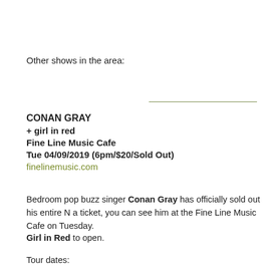Other shows in the area:
CONAN GRAY
+ girl in red
Fine Line Music Cafe
Tue 04/09/2019 (6pm/$20/Sold Out)
finelinemusic.com
Bedroom pop buzz singer Conan Gray has officially sold out his entire N... a ticket, you can see him at the Fine Line Music Cafe on Tuesday.
Girl in Red to open.
Tour dates: